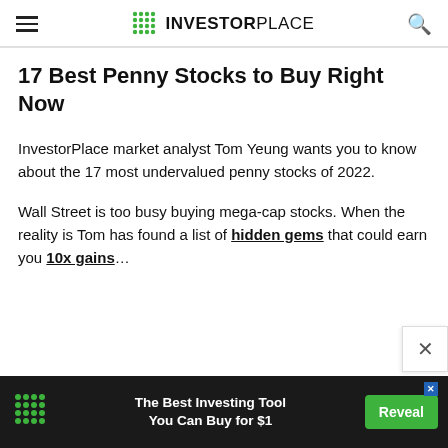INVESTORPLACE
17 Best Penny Stocks to Buy Right Now
InvestorPlace market analyst Tom Yeung wants you to know about the 17 most undervalued penny stocks of 2022.
Wall Street is too busy buying mega-cap stocks. When the reality is Tom has found a list of hidden gems that could earn you 10x gains…
[Figure (other): Advertisement banner: The Best Investing Tool You Can Buy for $1 with a Reveal button]